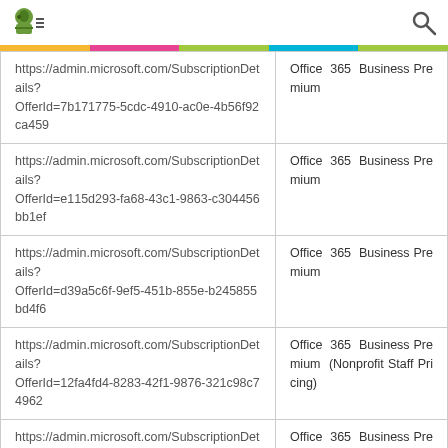| URL | Product |
| --- | --- |
| https://admin.microsoft.com/SubscriptionDetails?OfferId=7b171775-5cdc-4910-ac0e-4b56f92ca459 | Office 365 Business Premium |
| https://admin.microsoft.com/SubscriptionDetails?OfferId=e115d293-fa68-43c1-9863-c304456bb1ef | Office 365 Business Premium |
| https://admin.microsoft.com/SubscriptionDetails?OfferId=d39a5c6f-9ef5-451b-855e-b245855bd4f6 | Office 365 Business Premium |
| https://admin.microsoft.com/SubscriptionDetails?OfferId=12fa4fd4-8283-42f1-9876-321c98c74962 | Office 365 Business Premium (Nonprofit Staff Pricing) |
| https://admin.microsoft.com/SubscriptionDetails?OfferId=c6bb4ec6-07a6-419c-884e-88da1479c4c8 | Office 365 Business Premium (Nonprofit Staff Pricing) |
| https://admin.microsoft.com/SubscriptionDetails?OfferId=7d08a5d6-d44a-4729-b49c-d748a9bf8bdf | Office 365 Business Premium (Nonprofit Staff Pricing) Trial |